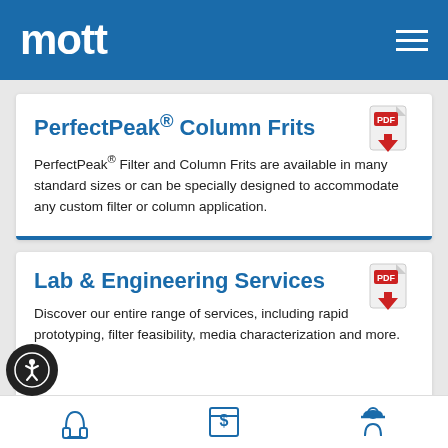mott
PerfectPeak® Column Frits
PerfectPeak® Filter and Column Frits are available in many standard sizes or can be specially designed to accommodate any custom filter or column application.
[Figure (illustration): PDF download icon (red arrow on document)]
Lab & Engineering Services
Discover our entire range of services, including rapid prototyping, filter feasibility, media characterization and more.
[Figure (illustration): PDF download icon (red arrow on document)]
[Figure (illustration): Accessibility button icon (person in circle)]
[Figure (illustration): Bottom navigation icons: headset/support, ATM/pricing, engineer/worker]